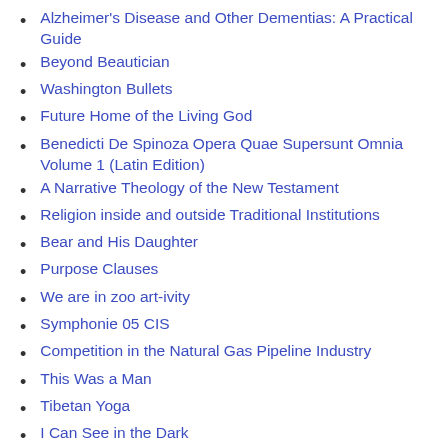Alzheimer's Disease and Other Dementias: A Practical Guide
Beyond Beautician
Washington Bullets
Future Home of the Living God
Benedicti De Spinoza Opera Quae Supersunt Omnia Volume 1 (Latin Edition)
A Narrative Theology of the New Testament
Religion inside and outside Traditional Institutions
Bear and His Daughter
Purpose Clauses
We are in zoo art-ivity
Symphonie 05 CIS
Competition in the Natural Gas Pipeline Industry
This Was a Man
Tibetan Yoga
I Can See in the Dark